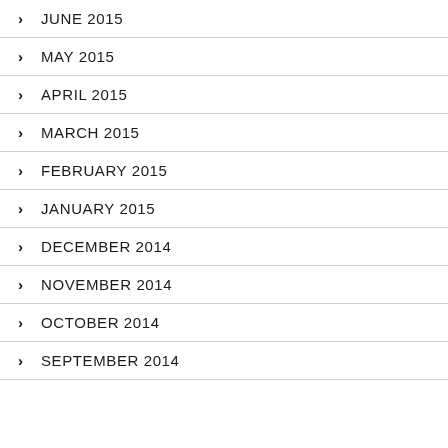JUNE 2015
MAY 2015
APRIL 2015
MARCH 2015
FEBRUARY 2015
JANUARY 2015
DECEMBER 2014
NOVEMBER 2014
OCTOBER 2014
SEPTEMBER 2014